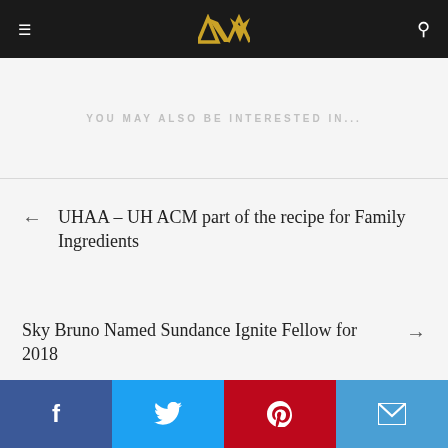ACM
YOU MAY ALSO BE INTERESTED IN...
UHAA – UH ACM part of the recipe for Family Ingredients
Sky Bruno Named Sundance Ignite Fellow for 2018
Facebook | Twitter | Pinterest | Email